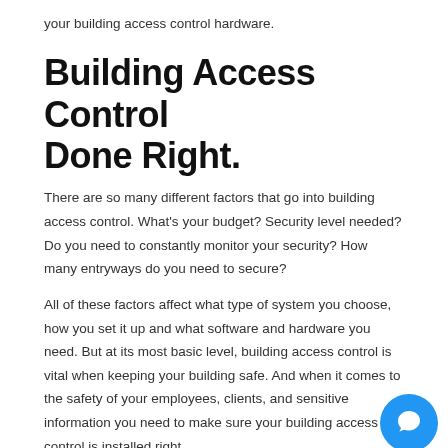your building access control hardware.
Building Access Control Done Right.
There are so many different factors that go into building access control. What's your budget? Security level needed? Do you need to constantly monitor your security? How many entryways do you need to secure?
All of these factors affect what type of system you choose, how you set it up and what software and hardware you need. But at its most basic level, building access control is vital when keeping your building safe. And when it comes to the safety of your employees, clients, and sensitive information you need to make sure your building access control is installed right.
Medlin Communications knows building access control. We install security systems, including building access control, for companies of all sizes. From nationwide corporations to small